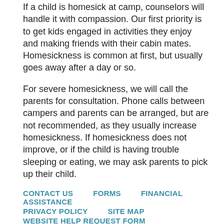If a child is homesick at camp, counselors will handle it with compassion. Our first priority is to get kids engaged in activities they enjoy and making friends with their cabin mates. Homesickness is common at first, but usually goes away after a day or so.
For severe homesickness, we will call the parents for consultation. Phone calls between campers and parents can be arranged, but are not recommended, as they usually increase homesickness. If homesickness does not improve, or if the child is having trouble sleeping or eating, we may ask parents to pick up their child.
CONTACT US   FORMS   FINANCIAL ASSISTANCE   PRIVACY POLICY   SITE MAP   WEBSITE HELP REQUEST FORM
Camp Fire Central Puget Sound, 2414 SW Andover Street, Suite D-105, Seattle, WA 98106, USA
(206) 461-8550 • info@campfireseattle.org